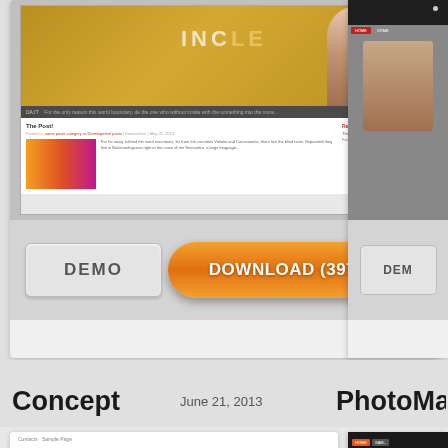[Figure (screenshot): WordPress theme screenshot showing golden banner with female silhouette, post area with colorful thumbnail, and sidebar with recent posts]
DEMO
DOWNLOAD (39778)
[Figure (screenshot): Partial right-side card showing dark header with red navigation button and portrait photo]
DEM
Concept
June 21, 2013
PhotoMag
[Figure (screenshot): Concept WordPress theme screenshot showing large CONCEPT logo text, typographic hero image with 'I Believe in Design, Good Design' text and pencil, navigation menu with HOME BUSINESS EXAMPLE POSTS INTERNET UNCATEGORIZED]
DEMO
DOWNLOAD (19166)
[Figure (screenshot): Partial PhotoMag theme card showing dark navigation bar with orange accent, arrow button, dark image block, and portrait photo]